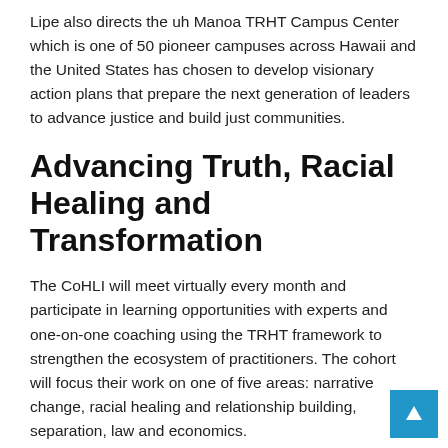Lipe also directs the uh Manoa TRHT Campus Center which is one of 50 pioneer campuses across Hawaii and the United States has chosen to develop visionary action plans that prepare the next generation of leaders to advance justice and build just communities.
Advancing Truth, Racial Healing and Transformation
The CoHLI will meet virtually every month and participate in learning opportunities with experts and one-on-one coaching using the TRHT framework to strengthen the ecosystem of practitioners. The cohort will focus their work on one of five areas: narrative change, racial healing and relationship building, separation, law and economics.
“We are thrilled for our first cohort and look forward to seeing the transformational changes needed for our communities to